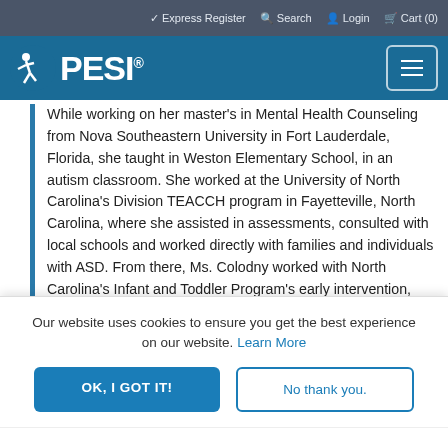✓ Express Register  🔍 Search  👤 Login  🛒 Cart (0)
[Figure (logo): PESI logo with blue background, figure icon and PESI® wordmark, hamburger menu button on right]
While working on her master's in Mental Health Counseling from Nova Southeastern University in Fort Lauderdale, Florida, she taught in Weston Elementary School, in an autism classroom. She worked at the University of North Carolina's Division TEACCH program in Fayetteville, North Carolina, where she assisted in assessments, consulted with local schools and worked directly with families and individuals with ASD. From there, Ms. Colodny worked with North Carolina's Infant and Toddler Program's early intervention, teaching developmental skills to children with developmental delays, counseled families through initial diagnosis of
Our website uses cookies to ensure you get the best experience on our website. Learn More
OK, I GOT IT!   No thank you.